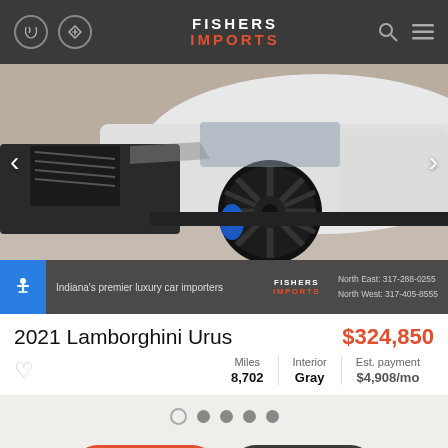FISHERS IMPORTS
[Figure (photo): Close-up photo of a white Lamborghini Urus showing front wheel with blue brake calipers and black multi-spoke wheels, shot in a showroom]
Indiana's premier luxury car importers  |  FISHERS IMPORTS  |  North East: 317-288-0255  North West: 317-405-8555
2021 Lamborghini Urus
$324,850
| Miles | Interior | Est. payment |
| --- | --- | --- |
| 8,702 | Gray | $4,908/mo |
Live Chat  |  Text Us
Please verify all the vehicle options with the dealer representative